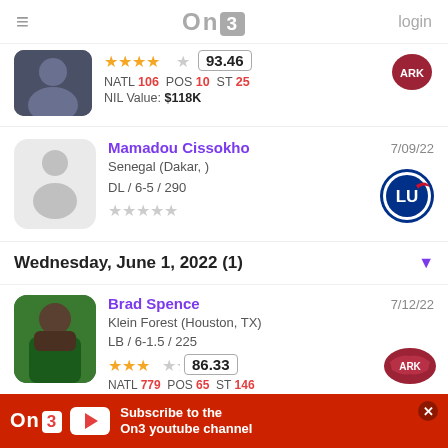On3 — login
[Figure (photo): Partial player card at top - jersey photo, 4 gold stars, rating 93.46, NATL 106 POS 10 ST 25, NIL Value: $118K, school logo (Arkansas)]
Mamadou Cissokho
Senegal (Dakar, )
DL / 6-5 / 290
★★★★★ (unrated)
7/09/22
[Figure (logo): Liberty University Flames logo]
Wednesday, June 1, 2022 (1)
Brad Spence
Klein Forest (Houston, TX)
LB / 6-1.5 / 225
★★★ 86.33
NATL 779 POS 65 ST 146
7/12/22
[Figure (logo): Arkansas Razorbacks logo]
[Figure (infographic): On3 YouTube channel advertisement banner]